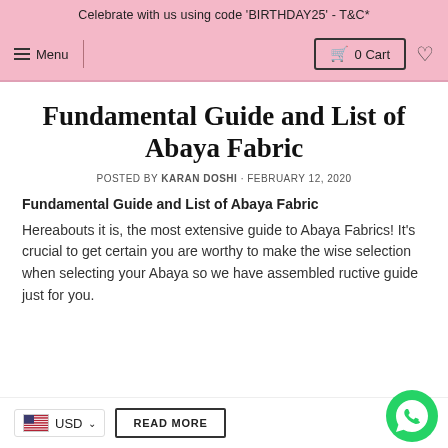Celebrate with us using code 'BIRTHDAY25' - T&C*
≡ Menu   🛒 0 Cart  ♡
Fundamental Guide and List of Abaya Fabric
POSTED BY KARAN DOSHI · FEBRUARY 12, 2020
Fundamental Guide and List of Abaya Fabric
Hereabouts it is, the most extensive guide to Abaya Fabrics! It's crucial to get certain you are worthy to make the wise selection when selecting your Abaya so we have assembled ructive guide just for you.
🇺🇸 USD ∨
READ MORE